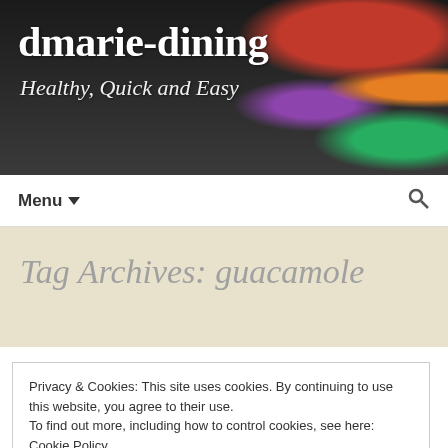dmarie-dining — Healthy, Quick and Easy
Tag Archives: guacamole
Guacamole
August 21, 2016   Appetizers, Dressing / Sauce / Dip,
Privacy & Cookies: This site uses cookies. By continuing to use this website, you agree to their use.
To find out more, including how to control cookies, see here: Cookie Policy
Close and accept